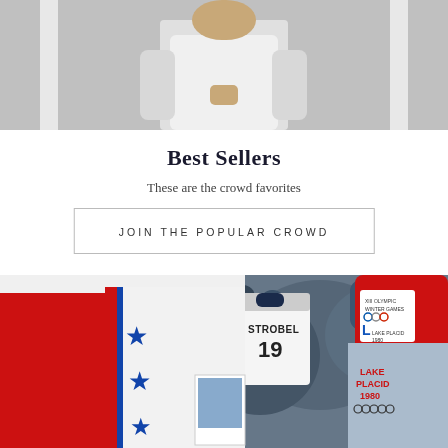[Figure (photo): Partial photo of a person wearing a white long-sleeve shirt, cropped to show torso area against a light background with architectural elements]
Best Sellers
These are the crowd favorites
JOIN THE POPULAR CROWD
[Figure (photo): Photo collage showing red athletic shorts with blue stars, USA hockey team jerseys with player STROBEL number 19, and a red Lake Placid 1980 Winter Olympics knit hat with the Olympic Games logo]